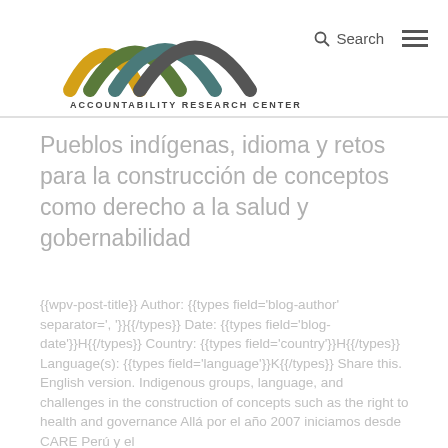Accountability Research Center — Search / Menu
Pueblos indígenas, idioma y retos para la construcción de conceptos como derecho a la salud y gobernabilidad
{{wpv-post-title}} Author: {{types field='blog-author' separator=', '}}{{/types}} Date: {{types field='blog-date'}}H{{/types}} Country: {{types field='country'}}H{{/types}} Language(s): {{types field='language'}}K{{/types}} Share this. English version. Indigenous groups, language, and challenges in the construction of concepts such as the right to health and governance Allá por el año 2007 iniciamos desde CARE Perú y el